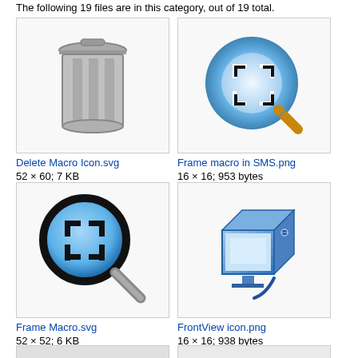The following 19 files are in this category, out of 19 total.
[Figure (illustration): Delete Macro Icon - grey trash can / cylinder icon]
Delete Macro Icon.svg
52 × 60; 7 KB
[Figure (illustration): Frame macro in SMS - blurry blue circular icon with selection frame and magnifier]
Frame macro in SMS.png
16 × 16; 953 bytes
[Figure (illustration): Frame Macro - blue magnifying glass with selection frame brackets icon]
Frame Macro.svg
52 × 52; 6 KB
[Figure (illustration): FrontView icon - blue 3D computer/monitor icon]
FrontView icon.png
16 × 16; 938 bytes
[Figure (screenshot): Partial screenshot thumbnail - bottom row partially visible]
[Figure (illustration): Second bottom row item - partially visible]